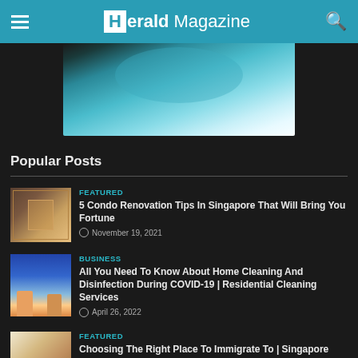Herald Magazine
[Figure (photo): Partial hero image showing a globe or spherical object with teal/blue tones against a dark background]
Popular Posts
[Figure (photo): Thumbnail for condo renovation article - brownish tones with text overlay]
FEATURED
5 Condo Renovation Tips In Singapore That Will Bring You Fortune
November 19, 2021
[Figure (illustration): Thumbnail for home cleaning article - cartoon illustration of two people]
BUSINESS
All You Need To Know About Home Cleaning And Disinfection During COVID-19 | Residential Cleaning Services
April 26, 2022
[Figure (photo): Thumbnail for immigration article - image of buildings/city]
FEATURED
Choosing The Right Place To Immigrate To | Singapore Immigration Partners